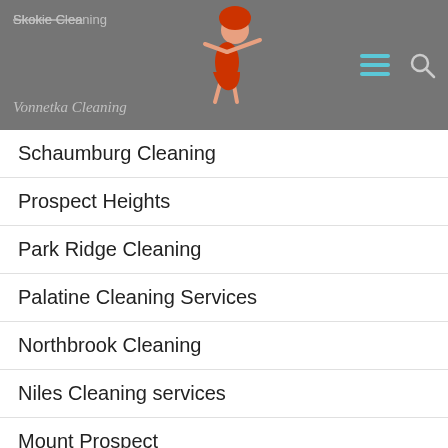Skokie Cleaning / Vonnetka Cleaning
Schaumburg Cleaning
Prospect Heights
Park Ridge Cleaning
Palatine Cleaning Services
Northbrook Cleaning
Niles Cleaning services
Mount Prospect
Morton Grove
Lincolnshire Services